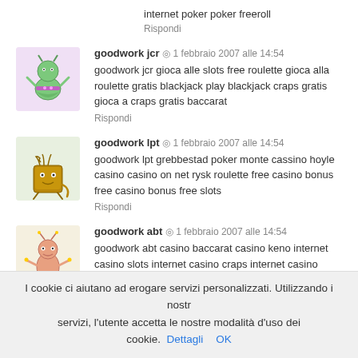internet poker poker freeroll
Rispondi
goodwork jcr ◎ 1 febbraio 2007 alle 14:54
goodwork jcr gioca alle slots free roulette gioca alla roulette gratis blackjack play blackjack craps gratis gioca a craps gratis baccarat
Rispondi
goodwork lpt ◎ 1 febbraio 2007 alle 14:54
goodwork lpt grebbestad poker monte cassino hoyle casino casino on net rysk roulette free casino bonus free casino bonus free slots
Rispondi
goodwork abt ◎ 1 febbraio 2007 alle 14:54
goodwork abt casino baccarat casino keno internet casino slots internet casino craps internet casino baccarat jouer au casino jeux gratuit casino casinos bonus gratuits
Rispondi
I cookie ci aiutano ad erogare servizi personalizzati. Utilizzando i nostri servizi, l'utente accetta le nostre modalità d'uso dei cookie. Dettagli OK